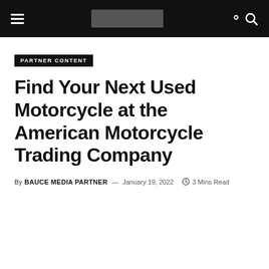Navigation bar with hamburger menu, logo placeholder, and search icon
PARTNER CONTENT
Find Your Next Used Motorcycle at the American Motorcycle Trading Company
By BAUCE MEDIA PARTNER — January 19, 2022  3 Mins Read